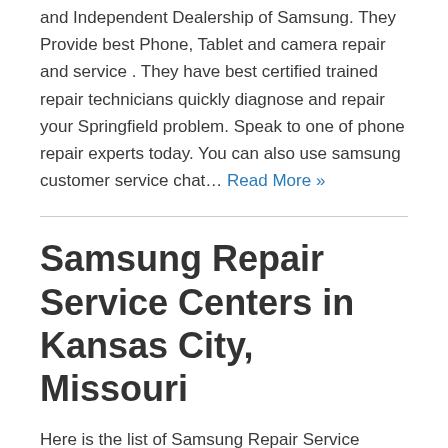and Independent Dealership of Samsung. They Provide best Phone, Tablet and camera repair and service . They have best certified trained repair technicians quickly diagnose and repair your Springfield problem. Speak to one of phone repair experts today. You can also use samsung customer service chat… Read More »
Samsung Repair Service Centers in Kansas City, Missouri
Here is the list of Samsung Repair Service Centers in Kansas City, Missouri, USA.  You can also find Authorised and Independent Dealership of Samsung. They Provide best Phone, Tablet and camera repair and service . They have best certified trained repair technicians quickly